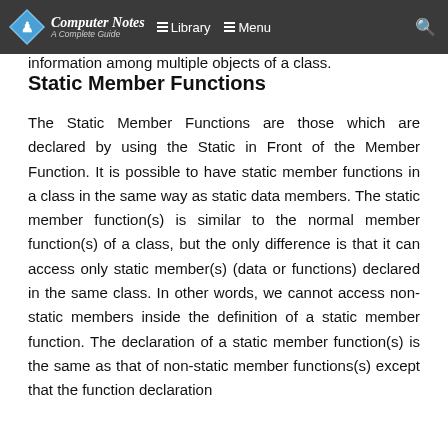Computer Notes – A Complete Guide | Library | Menu
variable is used to retain information between function calls. In contrast, static data members are used to sharing information among multiple objects of a class.
Static Member Functions
The Static Member Functions are those which are declared by using the Static in Front of the Member Function. It is possible to have static member functions in a class in the same way as static data members. The static member function(s) is similar to the normal member function(s) of a class, but the only difference is that it can access only static member(s) (data or functions) declared in the same class. In other words, we cannot access non-static members inside the definition of a static member function. The declaration of a static member function(s) is the same as that of non-static member functions(s) except that the function declaration